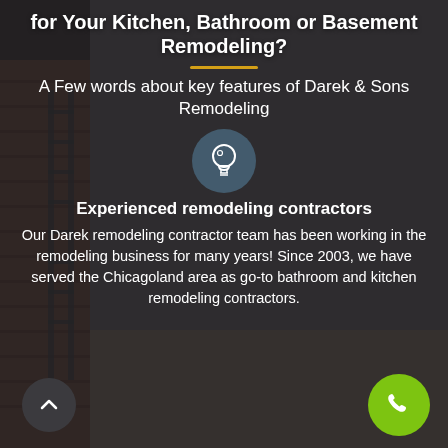Why Should You Choose Darek and Sons for Your Kitchen, Bathroom or Basement Remodeling?
A Few words about key features of Darek & Sons Remodeling
[Figure (illustration): Light bulb icon inside a dark teal circle]
Experienced remodeling contractors
Our Darek remodeling contractor team has been working in the remodeling business for many years! Since 2003, we have served the Chicagoland area as go-to bathroom and kitchen remodeling contractors.